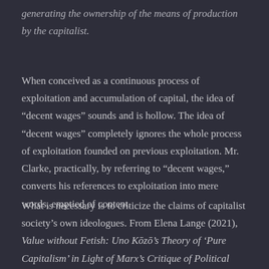generating the ownership of the means of production by the capitalist.
When conceived as a continuous process of exploitation and accumulation of capital, the idea of “decent wages” sounds and is hollow. The idea of “decent wages” completely ignores the whole process of exploitation founded on previous exploitation. Mr. Clarke, practically, by referring to “decent wages,” converts his references to exploitation into mere words, emptied of content.
What is necessary is to criticize the claims of capitalist society’s own ideologues. From Elena Lange (2021), Value without Fetish: Uno Kōzō’s Theory of ‘Pure Capitalism’ in Light of Marx’s Critique of Political